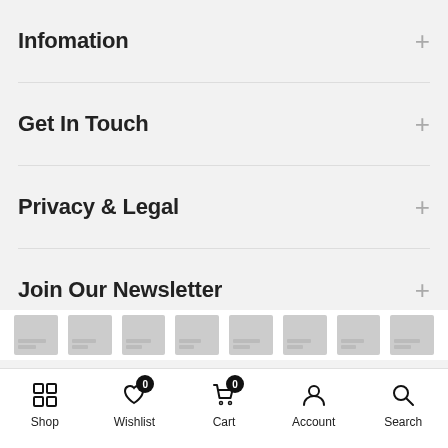Infomation
Get In Touch
Privacy & Legal
Join Our Newsletter
[Figure (screenshot): E-commerce mobile bottom navigation bar with Shop, Wishlist (badge: 0), Cart (badge: 0), Account, and Search icons]
Shop  Wishlist  Cart  Account  Search